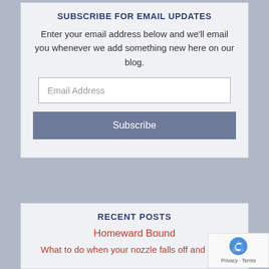SUBSCRIBE FOR EMAIL UPDATES
Enter your email address below and we'll email you whenever we add something new here on our blog.
[Figure (screenshot): Email Address input field (text box with placeholder 'Email Address')]
[Figure (screenshot): Subscribe button with grey-blue background]
RECENT POSTS
Homeward Bound
What to do when your nozzle falls off and other